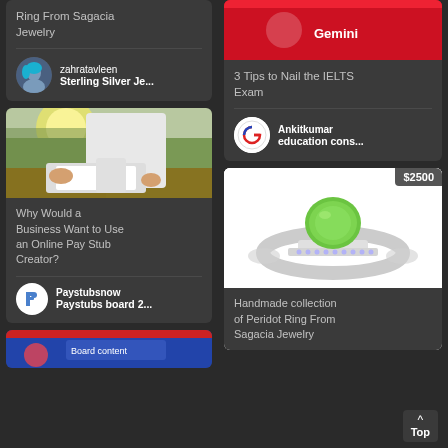Ring From Sagacia Jewelry
zahratavleen
Sterling Silver Je...
[Figure (photo): Person in white shirt using a tablet at an outdoor wooden table, greenery in background]
Why Would a Business Want to Use an Online Pay Stub Creator?
Paystubsnow
Paystubs board 2...
[Figure (photo): Partially visible card at bottom left with colorful graphic]
[Figure (photo): Red banner/image at top of right column]
3 Tips to Nail the IELTS Exam
Ankitkumar
education cons...
[Figure (photo): Peridot ring on white background, silver band with green stone and diamond accents, price $2500]
Handmade collection of Peridot Ring From Sagacia Jewelry
Top